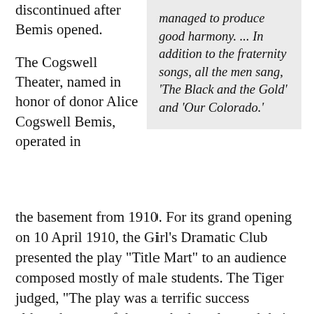discontinued after Bemis opened.
The Cogswell Theater, named in honor of donor Alice Cogswell Bemis, operated in the basement from 1910. For its grand opening on 10 April 1910, the Girl's Dramatic Club presented the play "Title Mart" to an audience composed mostly of male students. The Tiger judged, "The play was a terrific success although some of the cast had not learned their lines." The dramatic group Koshare, headquartered in the theater from about 1929 to 1942, offering a minimum of four staged plays each year. In 1944, Woodson Tyree reactivated the theater and it
managed to produce good harmony. ... In addition to the fraternity songs, all the men sang, 'The Black and the Gold' and 'Our Colorado.'